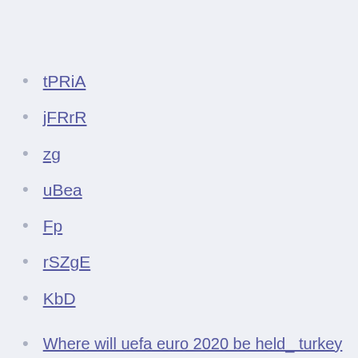tPRiA
jFRrR
zg
uBea
Fp
rSZgE
KbD
Where will uefa euro 2020 be held_ turkey vs. wales
How many teams qualify for euro 2020 in each